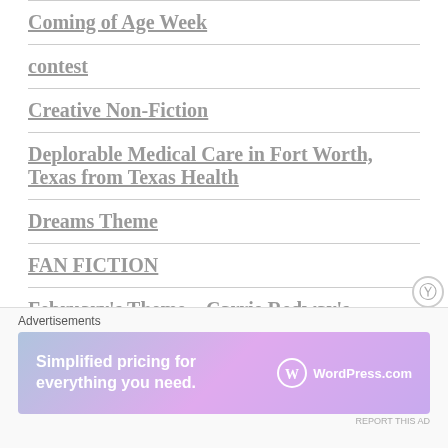Coming of Age Week
contest
Creative Non-Fiction
Deplorable Medical Care in Fort Worth, Texas from Texas Health
Dreams Theme
FAN FICTION
February's Theme – Carrie Redway's Ancestral S…
Advertisements
[Figure (infographic): WordPress.com advertisement banner with text 'Simplified pricing for everything you need.' and WordPress.com logo on a purple-blue gradient background]